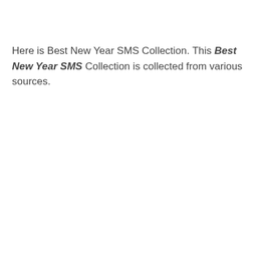Here is Best New Year SMS Collection. This Best New Year SMS Collection is collected from various sources.